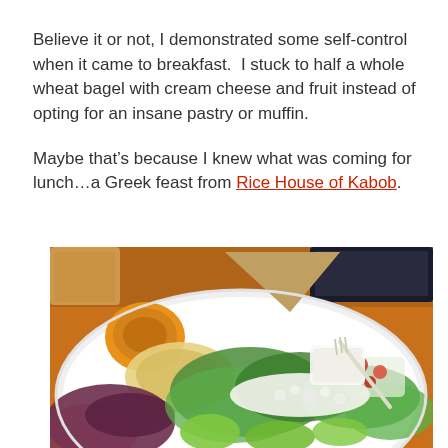Believe it or not, I demonstrated some self-control when it came to breakfast.  I stuck to half a whole wheat bagel with cream cheese and fruit instead of opting for an insane pastry or muffin.
Maybe that's because I knew what was coming for lunch…a Greek feast from Rice House of Kabob.
[Figure (photo): A white plate loaded with a Greek-style salad featuring mixed greens, feta cheese, tomatoes, hummus, roasted squash, and pita bread triangles. A plastic fork and small sauce container are visible. The plate sits on an orange surface with a drink cup and laptop visible in the background.]